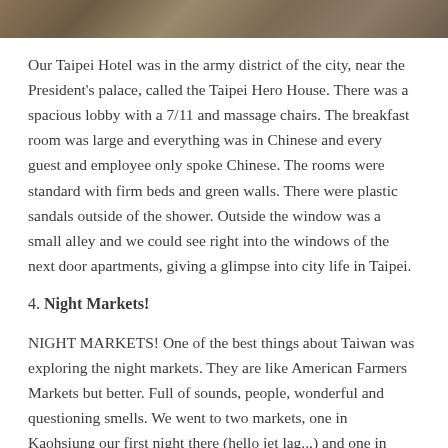[Figure (photo): Partial photo strip at top of page showing a scene, cropped]
Our Taipei Hotel was in the army district of the city, near the President's palace, called the Taipei Hero House. There was a spacious lobby with a 7/11 and massage chairs. The breakfast room was large and everything was in Chinese and every guest and employee only spoke Chinese. The rooms were standard with firm beds and green walls. There were plastic sandals outside of the shower. Outside the window was a small alley and we could see right into the windows of the next door apartments, giving a glimpse into city life in Taipei.
4. Night Markets!
NIGHT MARKETS! One of the best things about Taiwan was exploring the night markets. They are like American Farmers Markets but better. Full of sounds, people, wonderful and questioning smells. We went to two markets, one in Kaohsiung our first night there (hello jet lag...) and one in Taipei.